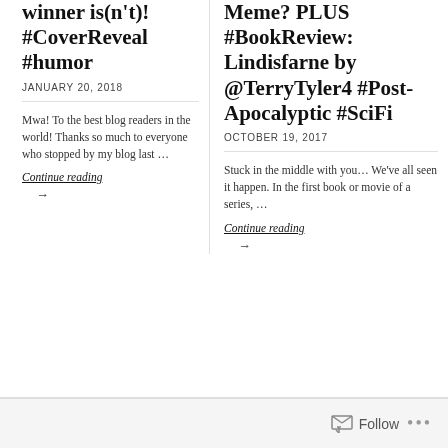winner is(n't)! #CoverReveal #humor
JANUARY 20, 2018
Mwa! To the best blog readers in the world! Thanks so much to everyone who stopped by my blog last …
Continue reading
→
Meme? PLUS #BookReview: Lindisfarne by @TerryTyler4 #Post-Apocalyptic #SciFi
OCTOBER 19, 2017
Stuck in the middle with you… We've all seen it happen. In the first book or movie of a series, …
Continue reading
→
Follow